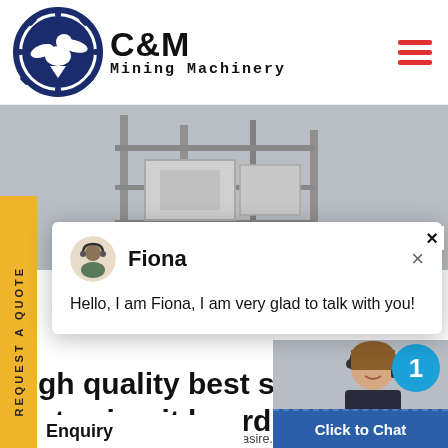[Figure (logo): C&M Mining Machinery logo with eagle gear emblem]
[Figure (photo): Industrial mining machinery equipment in grayscale background]
[Figure (illustration): Yellow vertical side tab reading REQUEST A QUOTE]
[Figure (screenshot): Live chat popup with avatar of Fiona agent and message: Hello, I am Fiona, I am very glad to talk with you!]
gh quality best selling ste circuit board for
weiku › Home › Products machine e lasire.be. 2019-1-11 · query price for s waste circuit board for electronic w
[Figure (photo): Customer service woman with headset smiling]
Click to Chat
Enquiry